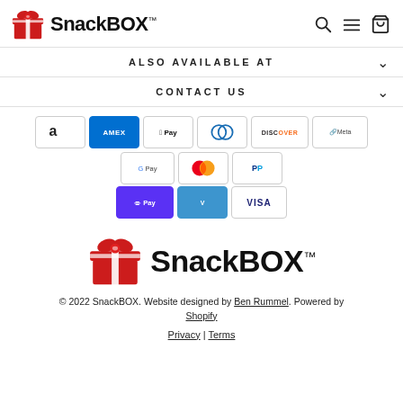SnackBOX™
ALSO AVAILABLE AT
CONTACT US
[Figure (other): Payment method icons: Amazon, Amex, Apple Pay, Diners Club, Discover, Meta Pay, Google Pay, Mastercard, PayPal, Shop Pay, Venmo, Visa]
[Figure (logo): SnackBOX logo with red gift box icon and SnackBOX™ text]
© 2022 SnackBOX. Website designed by Ben Rummel. Powered by Shopify
Privacy | Terms